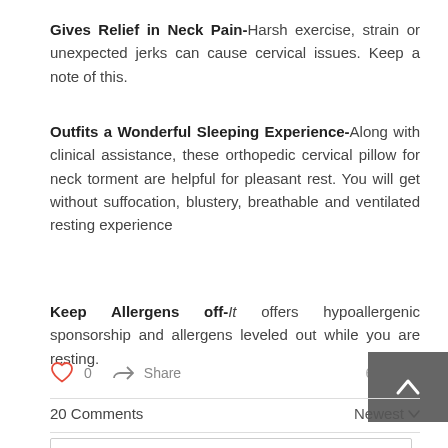Gives Relief in Neck Pain- Harsh exercise, strain or unexpected jerks can cause cervical issues. Keep a note of this.
Outfits a Wonderful Sleeping Experience- Along with clinical assistance, these orthopedic cervical pillow for neck torment are helpful for pleasant rest. You will get without suffocation, blustery, breathable and ventilated resting experience
Keep Allergens off- It offers hypoallergenic sponsorship and allergens leveled out while you are resting.
0   Share   62 views
20 Comments
Newest